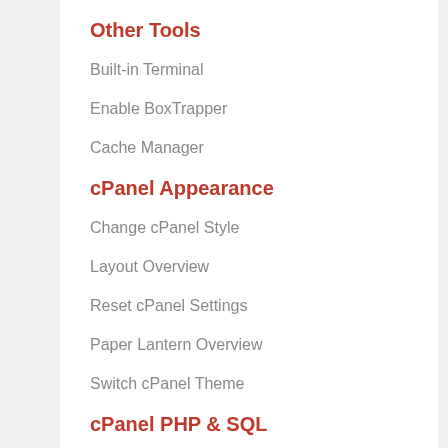Other Tools
Built-in Terminal
Enable BoxTrapper
Cache Manager
cPanel Appearance
Change cPanel Style
Layout Overview
Reset cPanel Settings
Paper Lantern Overview
Switch cPanel Theme
cPanel PHP & SQL
View PHP Version